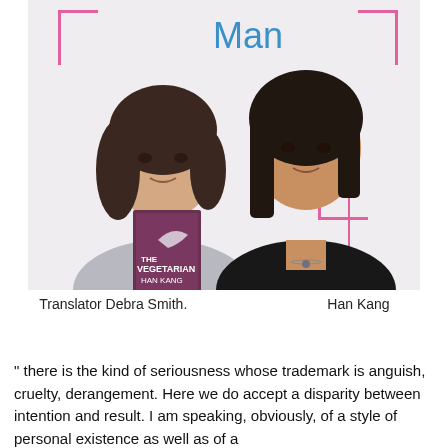[Figure (photo): Two women standing in front of a backdrop with the word 'Man' visible. The woman on the left holds a copy of the book 'The Vegetarian' by Han Kang. She has dark hair and wears a grey cardigan. The woman on the right has dark hair and wears a black jacket.]
Translator Debra Smith.    Han Kang
" there is the kind of seriousness whose trademark is anguish, cruelty, derangement. Here we do accept a disparity between intention and result. I am speaking, obviously, of a style of personal existence as well as of a